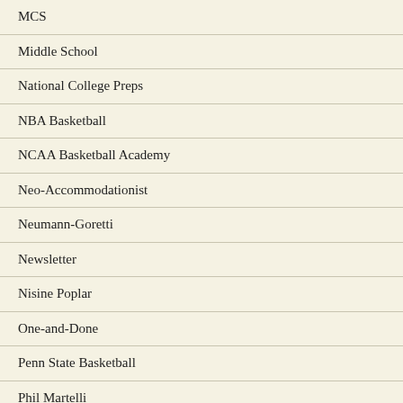MCS
Middle School
National College Preps
NBA Basketball
NCAA Basketball Academy
Neo-Accommodationist
Neumann-Goretti
Newsletter
Nisine Poplar
One-and-Done
Penn State Basketball
Phil Martelli
Philadelphia Catholic League
Philly Live
Philly Pride